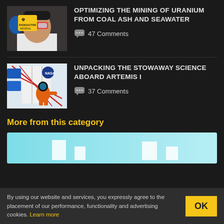[Figure (photo): Person wearing safety goggles and blue gloves holding a yellow radioactive warning sign]
OPTIMIZING THE MINING OF URANIUM FROM COAL ASH AND SEAWATER
47 Comments
[Figure (illustration): Illustration of an astronaut in orange suit attached to a NASA spacecraft with red cables]
UNPACKING THE STOWAWAY SCIENCE ABOARD ARTEMIS I
37 Comments
More from this category
[Figure (infographic): Partial advertisement banner with cyan/teal background and white block elements]
By using our website and services, you expressly agree to the placement of our performance, functionality and advertising cookies. Learn more